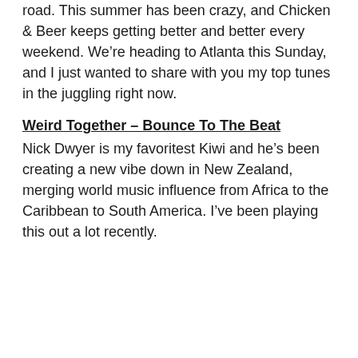road. This summer has been crazy, and Chicken & Beer keeps getting better and better every weekend. We're heading to Atlanta this Sunday, and I just wanted to share with you my top tunes in the juggling right now.
Weird Together – Bounce To The Beat
Nick Dwyer is my favoritest Kiwi and he's been creating a new vibe down in New Zealand, merging world music influence from Africa to the Caribbean to South America. I've been playing this out a lot recently.
As We Spoke – Murdering Style
Swedish electro space dancehall. Say no more.